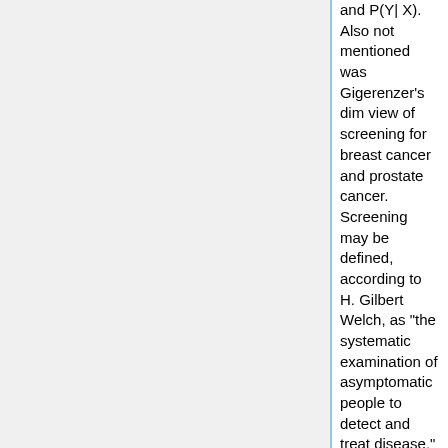and P(Y| X). Also not mentioned was Gigerenzer's dim view of screening for breast cancer and prostate cancer. Screening may be defined, according to H. Gilbert Welch, as "the systematic examination of asymptomatic people to detect and treat disease."  See [http://chance.dartmouth.edu/chancewiki/index.php/Chance_News_12#Screening